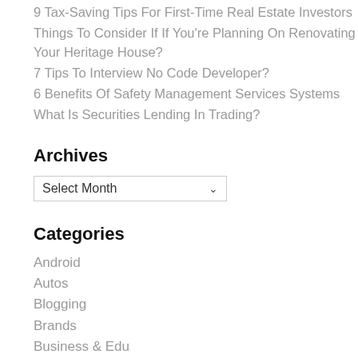9 Tax-Saving Tips For First-Time Real Estate Investors
Things To Consider If If You're Planning On Renovating Your Heritage House?
7 Tips To Interview No Code Developer?
6 Benefits Of Safety Management Services Systems
What Is Securities Lending In Trading?
Archives
Select Month
Categories
Android
Autos
Blogging
Brands
Business & Edu
Computing
Development